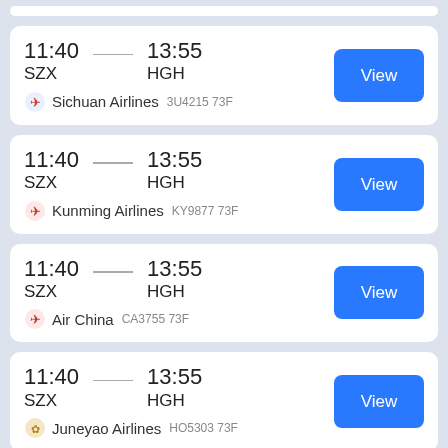11:40 SZX — 13:55 HGH | Sichuan Airlines 3U4215 73F | View
11:40 SZX — 13:55 HGH | Kunming Airlines KY9877 73F | View
11:40 SZX — 13:55 HGH | Air China CA3755 73F | View
11:40 SZX — 13:55 HGH | Juneyao Airlines HO5303 73F | View
13:00 SZX — 15:15 HGH | View